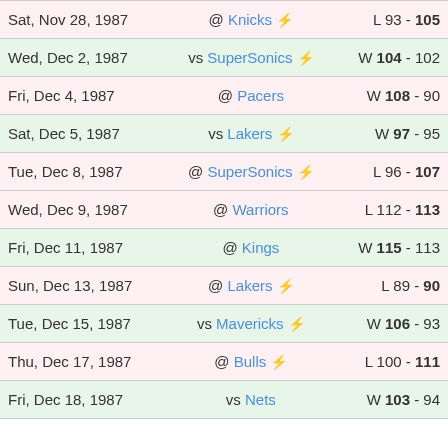| Date | Opponent | Score |
| --- | --- | --- |
| Sat, Nov 28, 1987 | @ Knicks ⚡ | L 93 - 105 |
| Wed, Dec 2, 1987 | vs SuperSonics ⚡ | W 104 - 102 |
| Fri, Dec 4, 1987 | @ Pacers | W 108 - 90 |
| Sat, Dec 5, 1987 | vs Lakers ⚡ | W 97 - 95 |
| Tue, Dec 8, 1987 | @ SuperSonics ⚡ | L 96 - 107 |
| Wed, Dec 9, 1987 | @ Warriors | L 112 - 113 |
| Fri, Dec 11, 1987 | @ Kings | W 115 - 113 |
| Sun, Dec 13, 1987 | @ Lakers ⚡ | L 89 - 90 |
| Tue, Dec 15, 1987 | vs Mavericks ⚡ | W 106 - 93 |
| Thu, Dec 17, 1987 | @ Bulls ⚡ | L 100 - 111 |
| Fri, Dec 18, 1987 | vs Nets | W 103 - 94 |